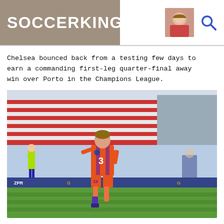SOCCERKING
Chelsea bounced back from a testing few days to earn a commanding first-leg quarter-final away win over Porto in the Champions League.
[Figure (photo): A Chelsea footballer wearing orange/red number 19 jersey celebrating on pitch, with stadium seats in background and a referee in yellow visible to the left. Champions League branding visible on advertising boards.]